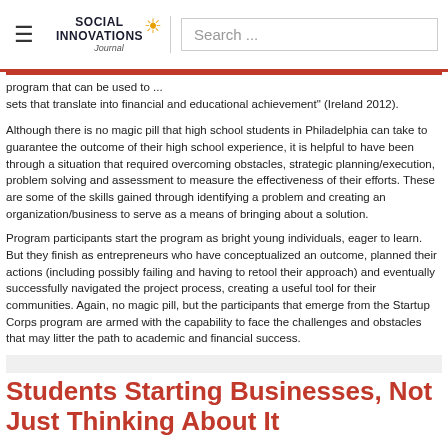Social Innovations Journal | Search ...
program that can be used to ...
sets that translate into financial and educational achievement" (Ireland 2012).
Although there is no magic pill that high school students in Philadelphia can take to guarantee the outcome of their high school experience, it is helpful to have been through a situation that required overcoming obstacles, strategic planning/execution, problem solving and assessment to measure the effectiveness of their efforts. These are some of the skills gained through identifying a problem and creating an organization/business to serve as a means of bringing about a solution.
Program participants start the program as bright young individuals, eager to learn. But they finish as entrepreneurs who have conceptualized an outcome, planned their actions (including possibly failing and having to retool their approach) and eventually successfully navigated the project process, creating a useful tool for their communities. Again, no magic pill, but the participants that emerge from the Startup Corps program are armed with the capability to face the challenges and obstacles that may litter the path to academic and financial success.
Students Starting Businesses, Not Just Thinking About It